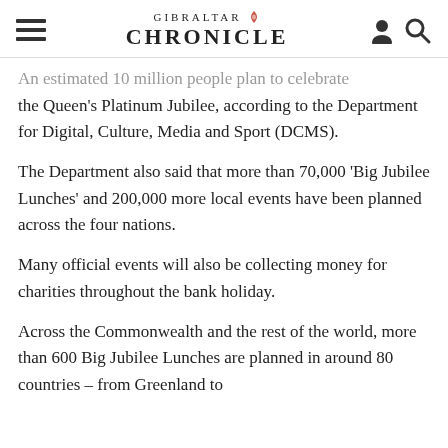GIBRALTAR CHRONICLE
An estimated 10 million people plan to celebrate the Queen's Platinum Jubilee, according to the Department for Digital, Culture, Media and Sport (DCMS).
The Department also said that more than 70,000 'Big Jubilee Lunches' and 200,000 more local events have been planned across the four nations.
Many official events will also be collecting money for charities throughout the bank holiday.
Across the Commonwealth and the rest of the world, more than 600 Big Jubilee Lunches are planned in around 80 countries – from Greenland to New Zealand.